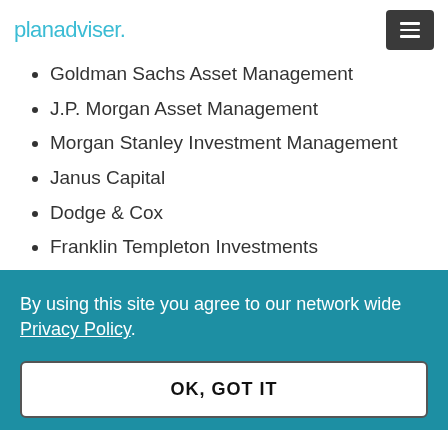planadviser.
Goldman Sachs Asset Management
J.P. Morgan Asset Management
Morgan Stanley Investment Management
Janus Capital
Dodge & Cox
Franklin Templeton Investments
By using this site you agree to our network wide Privacy Policy.
OK, GOT IT